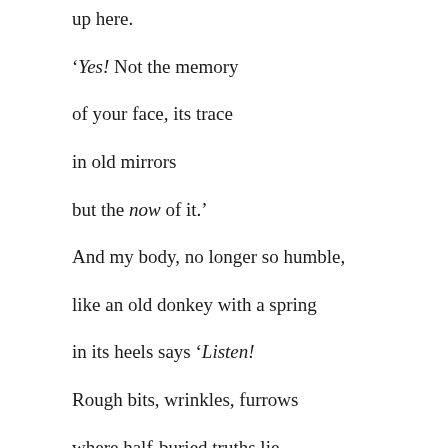up here.
‘Yes! Not the memory
of your face, its trace
in old mirrors
but the now of it.’
And my body, no longer so humble,
like an old donkey with a spring
in its heels says ‘Listen!
Rough bits, wrinkles, furrows
where half-buried truths lie,